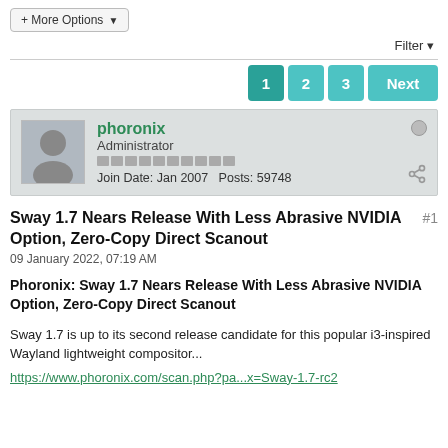+ More Options
Filter
1  2  3  Next
phoronix
Administrator
Join Date: Jan 2007  Posts: 59748
Sway 1.7 Nears Release With Less Abrasive NVIDIA Option, Zero-Copy Direct Scanout #1
09 January 2022, 07:19 AM
Phoronix: Sway 1.7 Nears Release With Less Abrasive NVIDIA Option, Zero-Copy Direct Scanout
Sway 1.7 is up to its second release candidate for this popular i3-inspired Wayland lightweight compositor...
https://www.phoronix.com/scan.php?pa...x=Sway-1.7-rc2